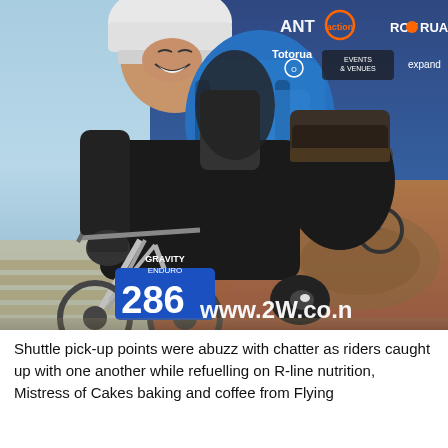[Figure (photo): A smiling female mountain biker wearing a white helmet, blue hydration backpack, black jersey, and race number 286 (Gravity Enduro), adjusting her muddy shoe on her bike. In the background is a promotional banner showing logos including GIANT, action, ROTORUA, Totorua Events & Venues, expand, and a second rider in a red jersey on a mountain bike trail, with www.2W.co.n visible at the bottom.]
Shuttle pick-up points were abuzz with chatter as riders caught up with one another while refuelling on R-line nutrition, Mistress of Cakes baking and coffee from Flying